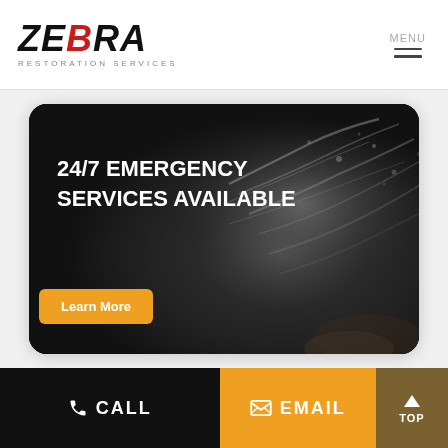[Figure (logo): Zebra Restoration Services logo with bold italic text and red accent stripe]
MENU
[Figure (photo): Dark photo of water splashing with text overlay '24/7 EMERGENCY SERVICES AVAILABLE' and orange 'Learn More' button]
CALL
EMAIL
TOP